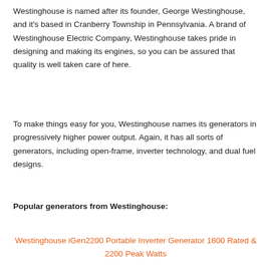Westinghouse is named after its founder, George Westinghouse, and it's based in Cranberry Township in Pennsylvania. A brand of Westinghouse Electric Company, Westinghouse takes pride in designing and making its engines, so you can be assured that quality is well taken care of here.
To make things easy for you, Westinghouse names its generators in progressively higher power output. Again, it has all sorts of generators, including open-frame, inverter technology, and dual fuel designs.
Popular generators from Westinghouse:
Westinghouse iGen2200 Portable Inverter Generator 1800 Rated & 2200 Peak Watts